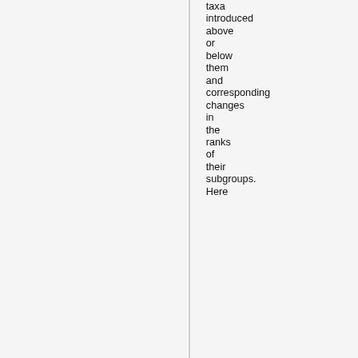taxa introduced above or below them and corresponding changes in the ranks of their subgroups. Here